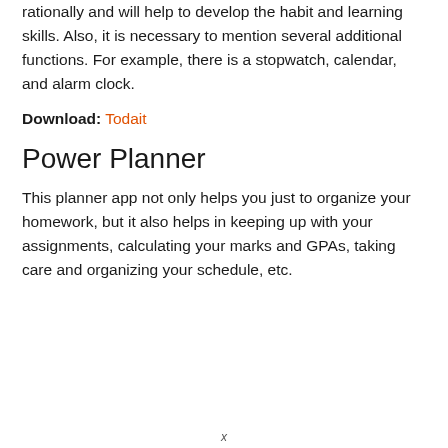rationally and will help to develop the habit and learning skills. Also, it is necessary to mention several additional functions. For example, there is a stopwatch, calendar, and alarm clock.
Download: Todait
Power Planner
This planner app not only helps you just to organize your homework, but it also helps in keeping up with your assignments, calculating your marks and GPAs, taking care and organizing your schedule, etc.
x